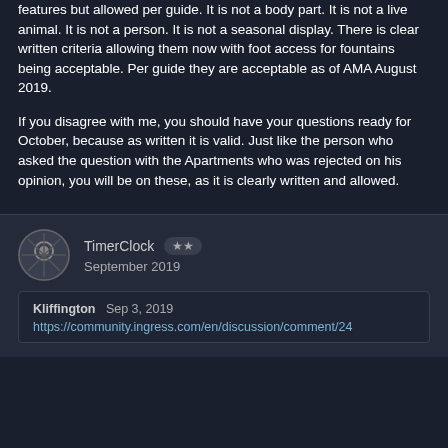features but allowed per guide. It is not a body part. It is not a live animal. It is not a person. It is not a seasonal display. There is clear written criteria allowing them now with foot access for fountains being acceptable. Per guide they are acceptable as of AMA August 2019.
If you disagree with me, you should have your questions ready for October, because as written it is valid. Just like the person who asked the question with the Apartments who was rejected on his opinion, you will be on these, as it is clearly written and allowed.
TimerClock  ★★  September 2019
Kliffington  Sep 3, 2019
https://community.ingress.com/en/discussion/comment/24